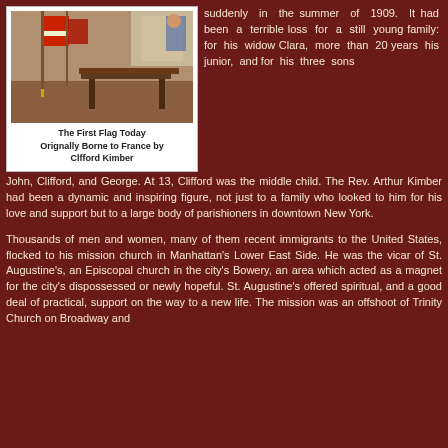[Figure (photo): A photograph of the First Flag, showing flags and wooden furniture in what appears to be a historic interior setting.]
The First Flag Today
Orignally Borne to France by
Clfford Kimber
suddenly in the summer of 1909. It had been a terrible loss for a still young family: for his widow Clara, more than 20 years his junior, and for his three sons John, Clifford, and George. At 13, Clifford was the middle child. The Rev. Arthur Kimber had been a dynamic and inspiring figure, not just to a family who looked to him for his love and support but to a large body of parishioners in downtown New York.
Thousands of men and women, many of them recent immigrants to the United States, flocked to his mission church in Manhattan's Lower East Side. He was the vicar of St. Augustine's, an Episcopal church in the city's Bowery, an area which acted as a magnet for the city's dispossessed or newly hopeful. St. Augustine's offered spiritual, and a good deal of practical, support on the way to a new life. The mission was an offshoot of Trinity Church on Broadway and